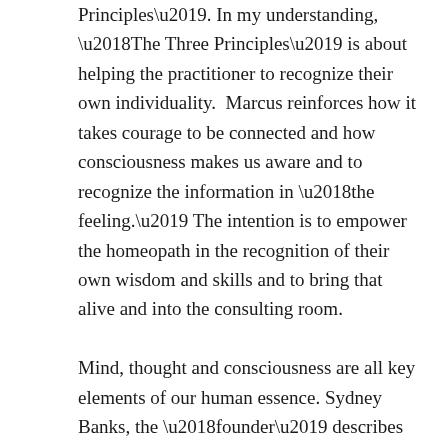Principles'. In my understanding, 'The Three Principles' is about helping the practitioner to recognize their own individuality. Marcus reinforces how it takes courage to be connected and how consciousness makes us aware and to recognize the information in 'the feeling.' The intention is to empower the homeopath in the recognition of their own wisdom and skills and to bring that alive and into the consulting room.

Mind, thought and consciousness are all key elements of our human essence. Sydney Banks, the 'founder' describes this as such: 'Mind is not brain. Neither is it a thing or a thought. It is a psychic force that acts as a catalyst and turns thought, whether conscious or unconscious, into the reality you now see.' (Banks, S:2016) The first lecture was sensitively given and sparked much emotion among many of us as witnesses/students. I have a feeling Marcus's empathetic approach is well